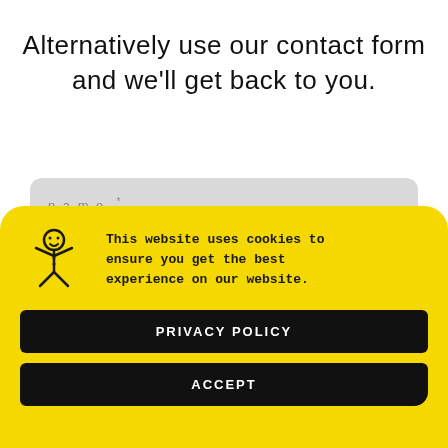Alternatively use our contact form and we'll get back to you.
[Figure (screenshot): Contact form with a name field showing placeholder text 'name' on a gray panel background, partially visible]
[Figure (infographic): Yellow cookie consent banner with gingerbread man icon, cookie notice text, PRIVACY POLICY button, and ACCEPT button]
This website uses cookies to ensure you get the best experience on our website.
PRIVACY POLICY
ACCEPT